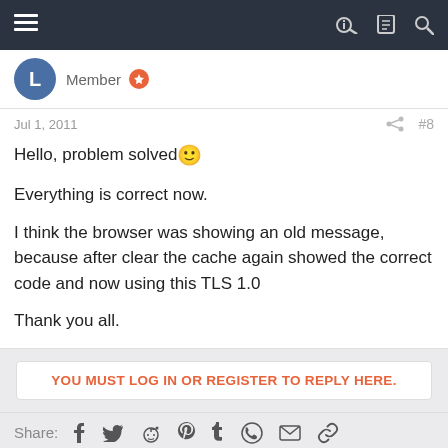Navigation bar with menu, key, list, and search icons
Member
Jul 1, 2011  #8
Hello, problem solved 🙂

Everything is correct now.

I think the browser was showing an old message, because after clear the cache again showed the correct code and now using this TLS 1.0

Thank you all.
YOU MUST LOG IN OR REGISTER TO REPLY HERE.
Share:
Similar threads